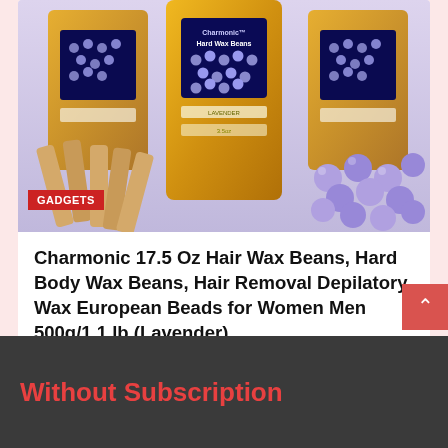[Figure (photo): Product photo of Charmonic Hard Wax Beans bags (gold packaging with purple/blue wax beads visible through window) with wooden spatulas and loose lavender wax beads, with a red GADGETS badge overlay]
Charmonic 17.5 Oz Hair Wax Beans, Hard Body Wax Beans, Hair Removal Depilatory Wax European Beads for Women Men 500g/1.1 lb (Lavender)
August 6, 2022 / admin
Without Subscription